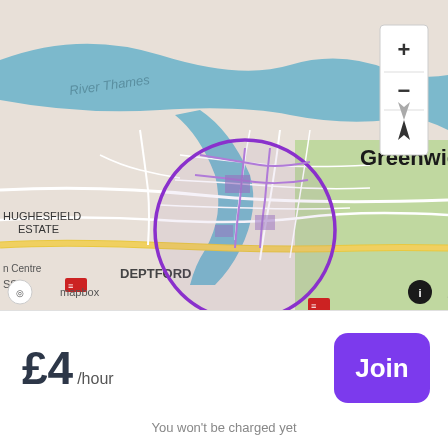[Figure (map): Mapbox map showing Greenwich area of London. River Thames visible at top. A purple circle highlights an area around central Greenwich near Devonport House and a train station. Areas labeled include: HUGHESFIELD ESTATE, Greenwich, Devonport House, DEPTFORD, Royal Observatory, Ranger's House. Yellow roads, green parks, and blue river visible. Map controls (+/-/compass) visible at top right. Mapbox logo and info button at bottom.]
£4 /hour
Join
You won't be charged yet